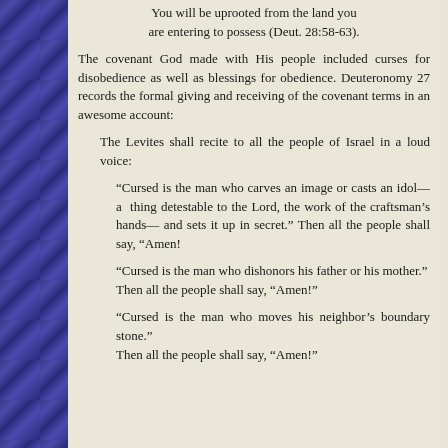You will be uprooted from the land you are entering to possess (Deut. 28:58-63).
The covenant God made with His people included curses for disobedience as well as blessings for obedience. Deuteronomy 27 records the formal giving and receiving of the covenant terms in an awesome account:
The Levites shall recite to all the people of Israel in a loud voice:
“Cursed is the man who carves an image or casts an idol—a thing detestable to the Lord, the work of the craftsman’s hands— and sets it up in secret.” Then all the people shall say, “Amen!
“Cursed is the man who dishonors his father or his mother.”
Then all the people shall say, “Amen!”
“Cursed is the man who moves his neighbor’s boundary stone.”
Then all the people shall say, “Amen!”